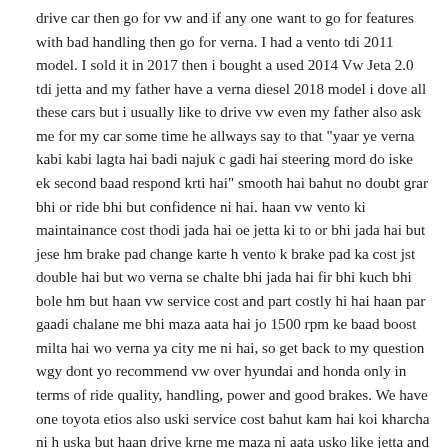drive car then go for vw and if any one want to go for features with bad handling then go for verna. I had a vento tdi 2011 model. I sold it in 2017 then i bought a used 2014 Vw Jeta 2.0 tdi jetta and my father have a verna diesel 2018 model i dove all these cars but i usually like to drive vw even my father also ask me for my car some time he allways say to that "yaar ye verna kabi kabi lagta hai badi najuk c gadi hai steering mord do iske ek second baad respond krti hai" smooth hai bahut no doubt grar bhi or ride bhi but confidence ni hai. haan vw vento ki maintainance cost thodi jada hai oe jetta ki to or bhi jada hai but jese hm brake pad change karte h vento k brake pad ka cost jst double hai but wo verna se chalte bhi jada hai fir bhi kuch bhi bole hm but haan vw service cost and part costly hi hai haan par gaadi chalane me bhi maza aata hai jo 1500 rpm ke baad boost milta hai wo verna ya city me ni hai, so get back to my question wgy dont yo recommend vw over hyundai and honda only in terms of ride quality, handling, power and good brakes. We have one toyota etios also uski service cost bahut kam hai koi kharcha ni h uska but haan drive krne me maza ni aata usko like jetta and vento, Please give your opinin on this.